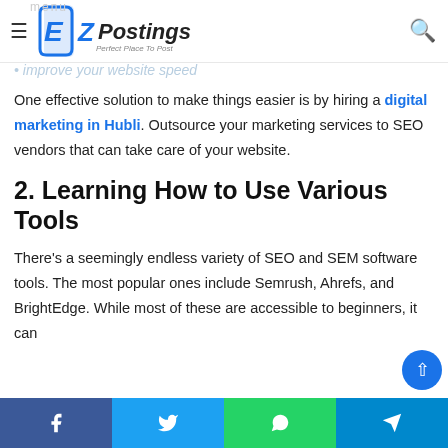EZPostings - Perfect Place To Post
Improve your website speed
One effective solution to make things easier is by hiring a digital marketing in Hubli. Outsource your marketing services to SEO vendors that can take care of your website.
2. Learning How to Use Various Tools
There’s a seemingly endless variety of SEO and SEM software tools. The most popular ones include Semrush, Ahrefs, and BrightEdge. While most of these are accessible to beginners, it can